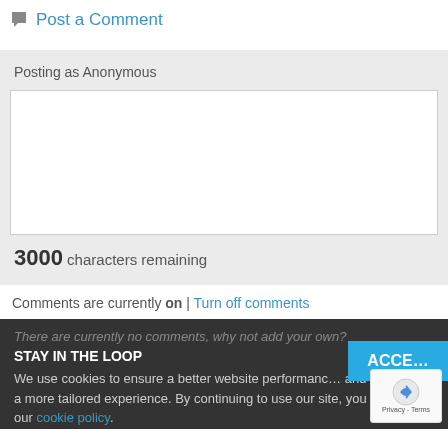Post a Comment
Posting as Anonymous
3000 characters remaining
Comments are currently on | Turn off comments
There are currently no comments, why not add your own?
STAY IN THE LOOP
We use cookies to ensure a better website performance and to give you a more tailored experience. By continuing to use our site, you consent to our cookie policy.
LATEST IN EACH SECTION